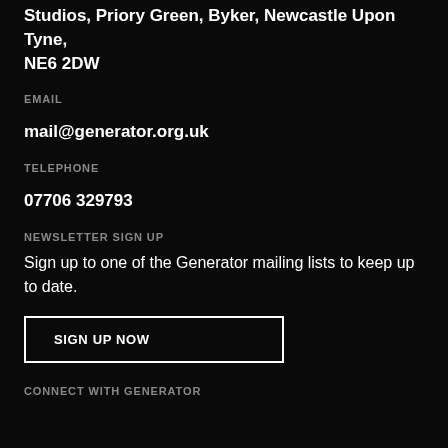Studios, Priory Green, Byker, Newcastle Upon Tyne, NE6 2DW
EMAIL
mail@generator.org.uk
TELEPHONE
07706 329793
NEWSLETTER SIGN UP
Sign up to one of the Generator mailing lists to keep up to date.
SIGN UP NOW
CONNECT WITH GENERATOR